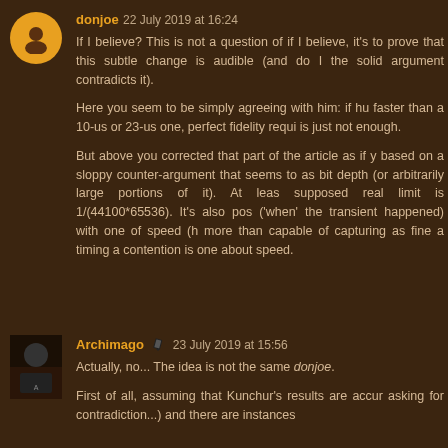donjoe 22 July 2019 at 16:24
If I believe? This is not a question of if I believe, it's to prove that this subtle change is audible (and do I the solid argument contradicts it).
Here you seem to be simply agreeing with him: if hu faster than a 10-us or 23-us one, perfect fidelity requi is just not enough.
But above you corrected that part of the article as if y based on a sloppy counter-argument that seems to as bit depth (or arbitrarily large portions of it). At leas supposed real limit is 1/(44100*65536). It's also pos ('when' the transient happened) with one of speed (h more than capable of capturing as fine a timing a contention is one about speed.
Archimago 23 July 2019 at 15:56
Actually, no... The idea is not the same donjoe.
First of all, assuming that Kunchur's results are accu asking for contradiction...) and there are instances